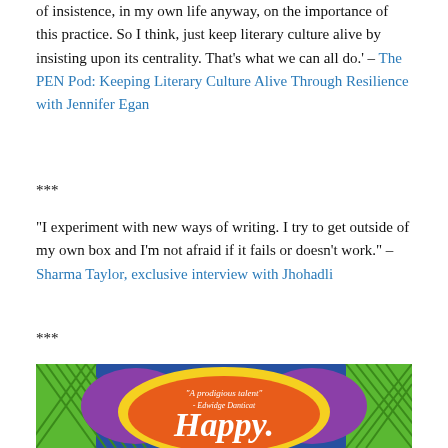of insistence, in my own life anyway, on the importance of this practice. So I think, just keep literary culture alive by insisting upon its centrality. That's what we can all do.' – The PEN Pod: Keeping Literary Culture Alive Through Resilience with Jennifer Egan
***
“I experiment with new ways of writing. I try to get outside of my own box and I’m not afraid if it fails or doesn't work.” – Sharma Taylor, exclusive interview with Jhohadli
***
[Figure (illustration): Book cover illustration with colorful mandala-style art in blue, green, purple and orange. Orange oval in center with text 'A prodigious talent' - Edwidge Danticat and the word 'Happy.' in large white script font.]